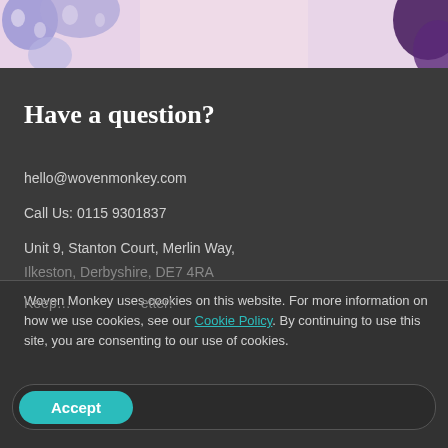[Figure (illustration): Top banner with decorative illustration: blue/purple patterned shapes on left, pink background in center, purple decorative element on right]
Have a question?
hello@wovenmonkey.com
Call Us: 0115 9301837
Unit 9, Stanton Court, Merlin Way,
Ilkeston, Derbyshire, DE7 4RA
Woven Monkey uses cookies on this website. For more information on how we use cookies, see our Cookie Policy. By continuing to use this site, you are consenting to our use of cookies.
Accept